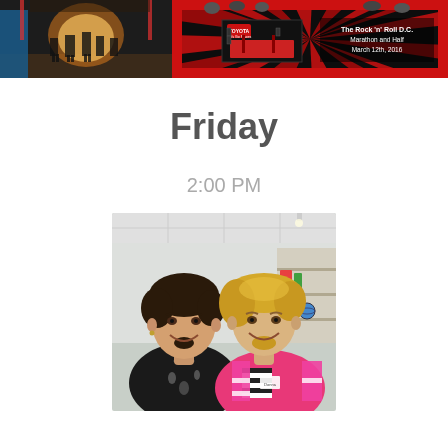[Figure (photo): Two side-by-side photos at top: left shows a dark arena/stage scene with horses and colorful tent-like structure; right shows a Toyota-branded Rock 'n' Roll D.C. Marathon and Half photo booth image dated March 12th, 2016 with people posing.]
Friday
2:00 PM
[Figure (photo): Two women smiling together in a selfie indoors. The woman on the left has dark curly hair and wears a black patterned top. The woman on the right has blonde hair and wears a bright pink jacket/vest with a black and white striped shirt. The background shows an office or classroom setting with shelving and a globe.]